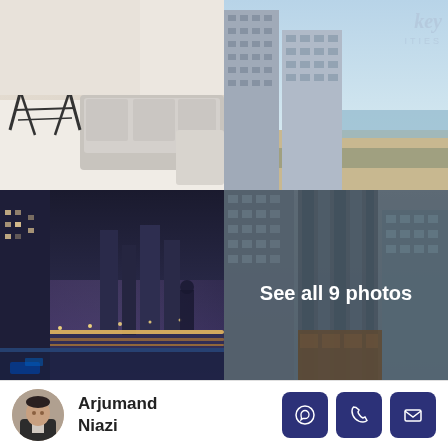[Figure (photo): Top-left: Interior living room with sofa and round side table on light carpet]
[Figure (photo): Top-right: Aerial view of Dubai high-rise buildings near waterfront, with 'key ITIES' logo watermark]
[Figure (photo): Bottom-left: Night cityscape of Dubai from high floor, showing lit highway and skyscrapers]
[Figure (photo): Bottom-right: Daytime view of Dubai skyscrapers with 'See all 9 photos' overlay text]
Arjumand Niazi
[Figure (photo): Agent headshot of Arjumand Niazi]
[Figure (other): WhatsApp contact button]
[Figure (other): Phone call contact button]
[Figure (other): Email contact button]